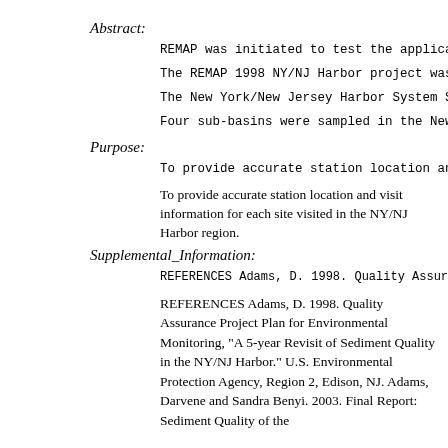Abstract:
REMAP was initiated to test the applicabi
The REMAP 1998 NY/NJ Harbor project was d
The New York/New Jersey Harbor System Sed
Four sub-basins were sampled in the New Y
Purpose:
To provide accurate station location and
To provide accurate station location and visit information for each site visited in the NY/NJ Harbor region.
Supplemental_Information:
REFERENCES Adams, D. 1998. Quality Assura
REFERENCES Adams, D. 1998. Quality Assurance Project Plan for Environmental Monitoring, "A 5-year Revisit of Sediment Quality in the NY/NJ Harbor." U.S. Environmental Protection Agency, Region 2, Edison, NJ. Adams, Darvene and Sandra Benyi. 2003. Final Report: Sediment Quality of the